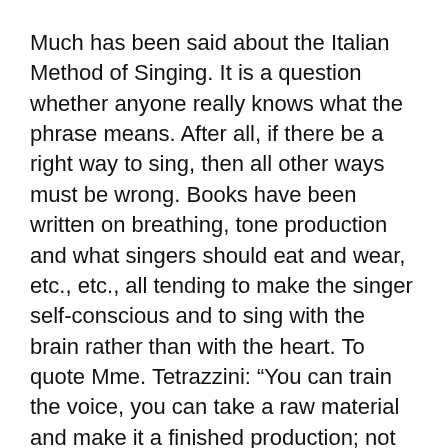Much has been said about the Italian Method of Singing. It is a question whether anyone really knows what the phrase means. After all, if there be a right way to sing, then all other ways must be wrong. Books have been written on breathing, tone production and what singers should eat and wear, etc., etc., all tending to make the singer self-conscious and to sing with the brain rather than with the heart. To quote Mme. Tetrazzini: “You can train the voice, you can take a raw material and make it a finished production; not so with the heart.”
The country is overrun with inferior teachers of singing; men and women who have failed to get before the public, turn to teaching without any